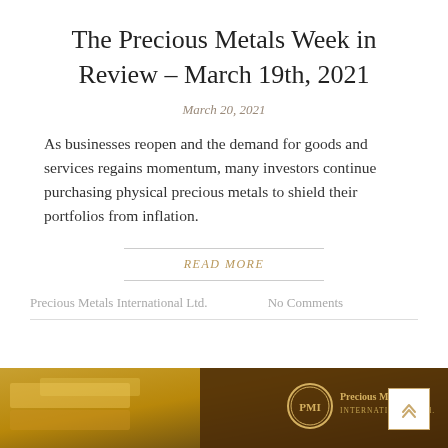The Precious Metals Week in Review – March 19th, 2021
March 20, 2021
As businesses reopen and the demand for goods and services regains momentum, many investors continue purchasing physical precious metals to shield their portfolios from inflation.
READ MORE
Precious Metals International Ltd.    No Comments
[Figure (photo): Bottom banner image showing gold bars/bullion with Precious Metals International Ltd. logo and branding]